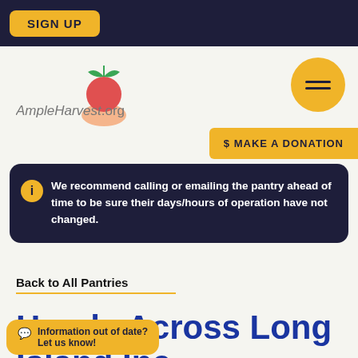SIGN UP
[Figure (logo): AmpleHarvest.org logo with tomato and hand graphic]
[Figure (other): Yellow circular hamburger menu button]
$ MAKE A DONATION
We recommend calling or emailing the pantry ahead of time to be sure their days/hours of operation have not changed.
Back to All Pantries
Hands Across Long Island Inc
Information out of date? Let us know!